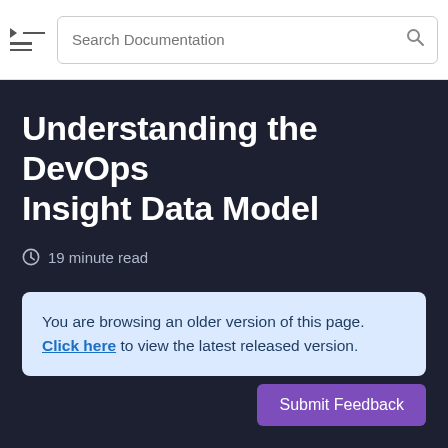Search Documentation
Understanding the DevOps Insight Data Model
19 minute read
You are browsing an older version of this page. Click here to view the latest released version.
Submit Feedback